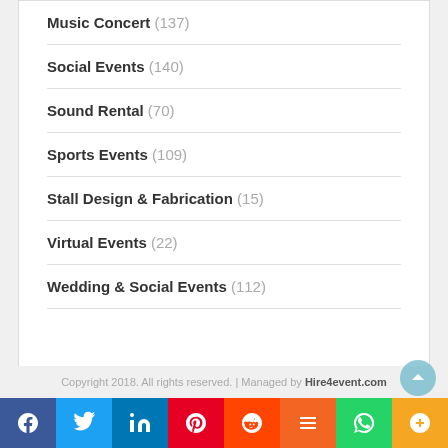Music Concert (137)
Social Events (140)
Sound Rental (70)
Sports Events (109)
Stall Design & Fabrication (15)
Virtual Events (22)
Wedding & Social Events (112)
Copyright 2018. All rights reserved. | Managed by Hire4event.com